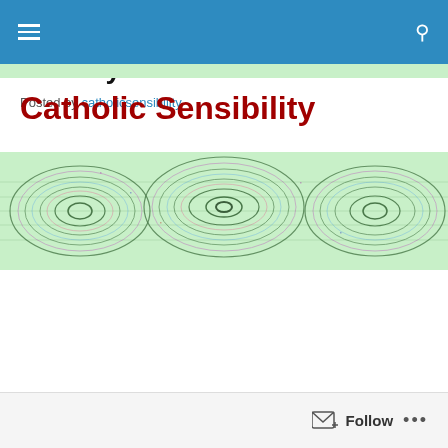Catholic Sensibility — navigation bar with hamburger menu and search icon
Catholic Sensibility
[Figure (illustration): Decorative banner image with colorful concentric wave/interference patterns in green, pink, purple and black on a light green background]
Resurfacing Sabbath and Sunday
Posted by catholicsensibility
Follow button bar with follow icon and ellipsis menu